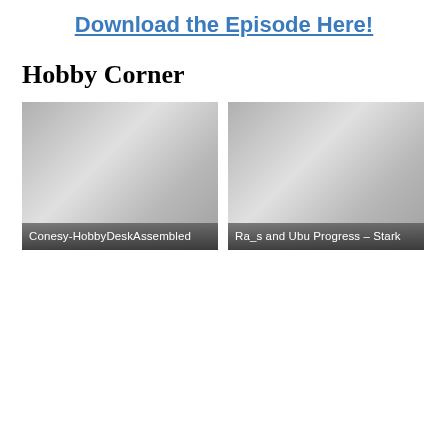Download the Episode Here!
Hobby Corner
[Figure (photo): Two thumbnail images side by side. Left: 'Conesy-HobbyDeskAssembled', Right: 'Ra_s and Ubu Progress – Stark'. Both are gray placeholder images with caption labels at the bottom.]